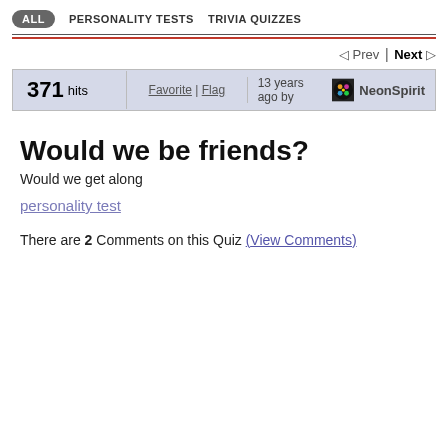ALL  PERSONALITY TESTS  TRIVIA QUIZZES
◁ Prev | Next ▷
371 hits   Favorite | Flag   13 years ago by NeonSpirit
Would we be friends?
Would we get along
personality test
There are 2 Comments on this Quiz (View Comments)